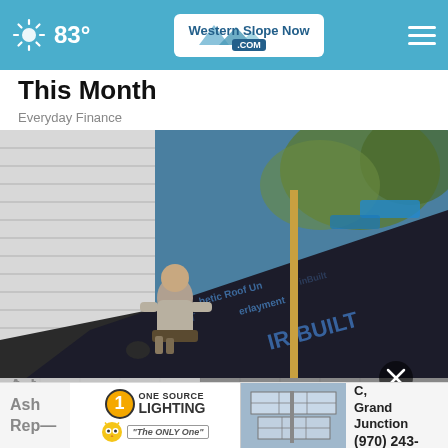83° WesternSlopeNow.com
This Month
Everyday Finance
[Figure (photo): A roofer working on a residential roof, installing roofing underlayment labeled 'IR-BUILT Synthetic Roof Underlayment', next to white house siding and trees in background.]
Ash
Rep
[Figure (other): Advertisement for One Source Lighting - 'The ONLY One' with owl mascot, address 552 25 Rd # C, Grand Junction, phone (970) 243-2400, with a solar panel graphic.]